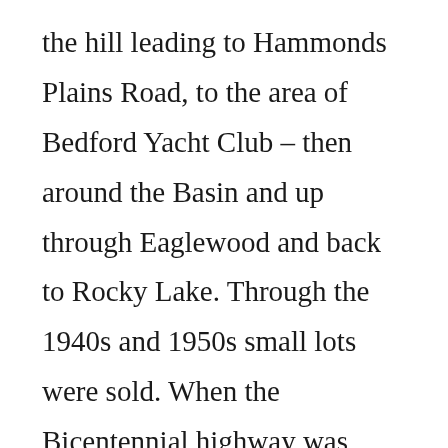the hill leading to Hammonds Plains Road, to the area of Bedford Yacht Club – then around the Basin and up through Eaglewood and back to Rocky Lake. Through the 1940s and 1950s small lots were sold. When the Bicentennial highway was built some of the land was purchased by the province. This provided considerable further revenue.

After World War II, along with